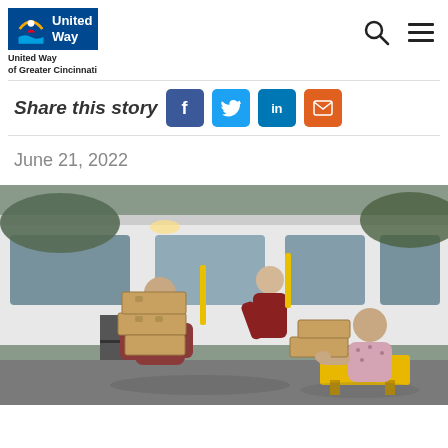United Way of Greater Cincinnati
Share this story
June 21, 2022
[Figure (photo): Volunteers unloading cardboard boxes from a white bus in a parking lot. One person carries a stack of boxes, another leans from the bus handing boxes, and a third person receives boxes from a yellow cart.]